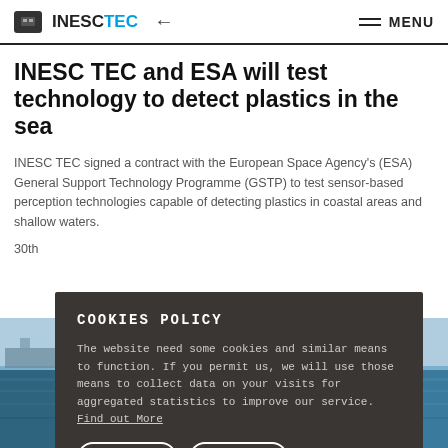INESC TEC  ←  MENU
INESC TEC and ESA will test technology to detect plastics in the sea
INESC TEC signed a contract with the European Space Agency's (ESA) General Support Technology Programme (GSTP) to test sensor-based perception technologies capable of detecting plastics in coastal areas and shallow waters.
30th
[Figure (photo): Ocean background photograph showing sea water]
COOKIES POLICY

The website need some cookies and similar means to function. If you permit us, we will use those means to collect data on your visits for aggregated statistics to improve our service. Find out More

ACCEPT   REJECT